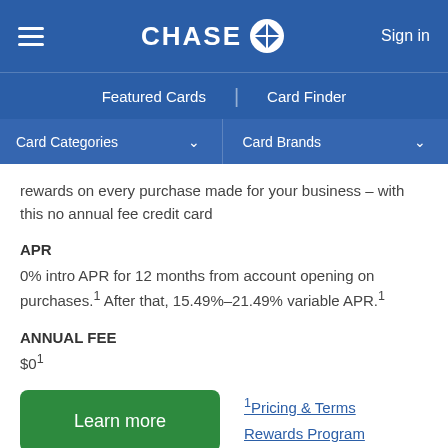CHASE — Sign in | Featured Cards | Card Finder | Card Categories | Card Brands
rewards on every purchase made for your business – with this no annual fee credit card
APR
0% intro APR for 12 months from account opening on purchases.¹ After that, 15.49%–21.49% variable APR.¹
ANNUAL FEE
$0¹
Learn more
¹Pricing & Terms
Rewards Program Agreement